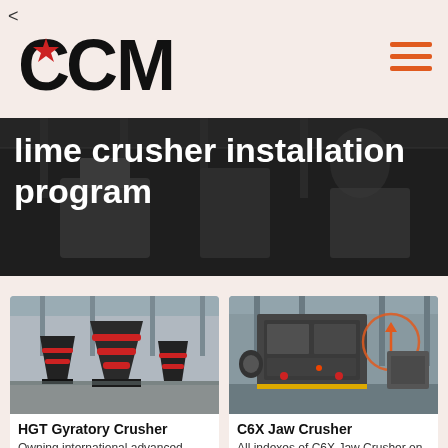<
[Figure (logo): CCM logo with red star replacing the letter C, black bold text]
[Figure (other): Hamburger menu icon with three orange horizontal lines]
[Figure (photo): Hero banner with dark background showing industrial machinery, text overlay: lime crusher installation program]
lime crusher installation program
[Figure (photo): HGT Gyratory Crusher - large conical industrial crushing machine in a factory setting]
HGT Gyratory Crusher
Owning international advanced crushing
[Figure (photo): C6X Jaw Crusher - large grey industrial jaw crushing machine with orange arrow circle overlay]
C6X Jaw Crusher
All indexes of C6X Jaw Crusher on structure and